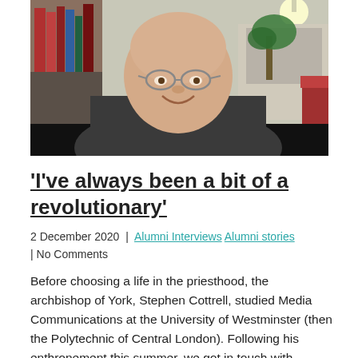[Figure (photo): Video call screenshot of an elderly bald man with glasses wearing a dark clerical collar top, smiling. Background shows bookshelves on the left and a plant and furniture on the right.]
‘I’ve always been a bit of a revolutionary’
2 December 2020 | Alumni Interviews Alumni stories | No Comments
Before choosing a life in the priesthood, the archbishop of York, Stephen Cottrell, studied Media Communications at the University of Westminster (then the Polytechnic of Central London). Following his enthronement this summer, we got in touch with